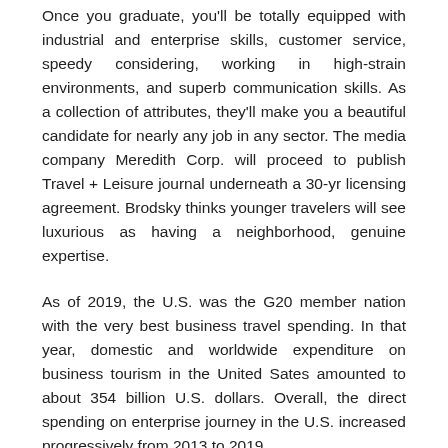Once you graduate, you'll be totally equipped with industrial and enterprise skills, customer service, speedy considering, working in high-strain environments, and superb communication skills. As a collection of attributes, they'll make you a beautiful candidate for nearly any job in any sector. The media company Meredith Corp. will proceed to publish Travel + Leisure journal underneath a 30-yr licensing agreement. Brodsky thinks younger travelers will see luxurious as having a neighborhood, genuine expertise.
As of 2019, the U.S. was the G20 member nation with the very best business travel spending. In that year, domestic and worldwide expenditure on business tourism in the United Sates amounted to about 354 billion U.S. dollars. Overall, the direct spending on enterprise journey in the U.S. increased progressively from 2013 to 2019.
New Analysis: 5 Things Brands Have